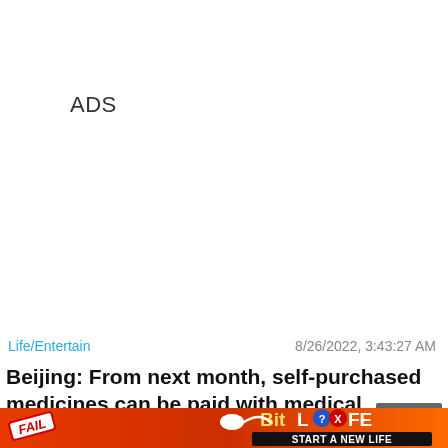ADS
Life/Entertain
8/26/2022, 3:43:27 AM
Beijing: From next month, self-purchased medicines can be paid with medical
[Figure (screenshot): BitLife advertisement banner with flame background, 'FAIL' badge, cartoon character, sperm icon, BitLife logo, and 'START A NEW LIFE' text. Has a 'Close X' button overlay.]